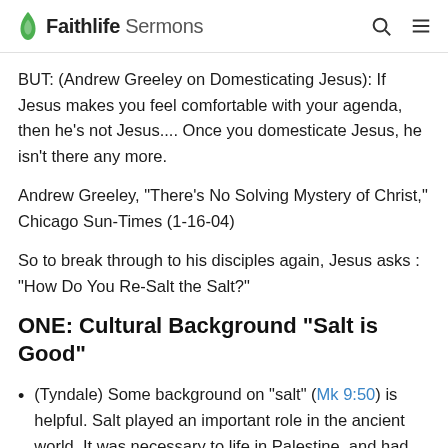Faithlife Sermons
BUT: (Andrew Greeley on Domesticating Jesus): If Jesus makes you feel comfortable with your agenda, then he's not Jesus.... Once you domesticate Jesus, he isn't there any more.
Andrew Greeley, "There's No Solving Mystery of Christ," Chicago Sun-Times (1-16-04)
So to break through to his disciples again, Jesus asks : "How Do You Re-Salt the Salt?"
ONE: Cultural Background "Salt is Good"
(Tyndale) Some background on "salt" (Mk 9:50) is helpful. Salt played an important role in the ancient world. It was necessary to life in Palestine, and had commercial value. Salt was used as a preservative for meats and as a means